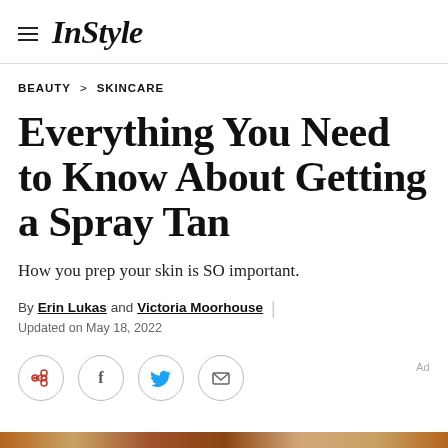InStyle
BEAUTY > SKINCARE
Everything You Need to Know About Getting a Spray Tan
How you prep your skin is SO important.
By Erin Lukas and Victoria Moorhouse | Updated on May 18, 2022
[Figure (other): Social sharing buttons: Pinterest, Facebook, Twitter, Email]
[Figure (photo): Bottom strip showing a partial image of tanned skin or related beauty photo]